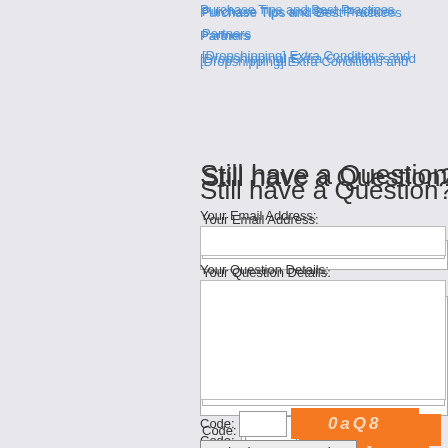Purchase Tips and Best Practices
Partners
[Dropshipping] Extra Conditions and
Still have a Question? Lea
Your Email Address:
Your Question Details:
Code: [input field] [captcha: 0aQ8]
Submit Your Question